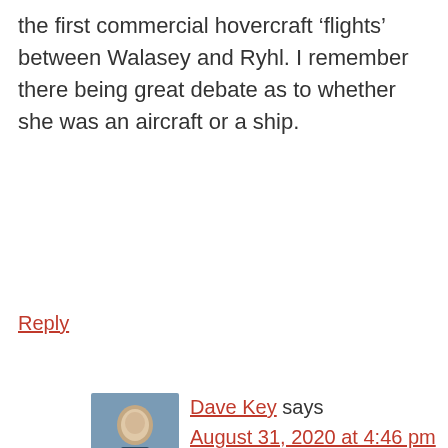the first commercial hovercraft ‘flights’ between Walasey and Ryhl. I remember there being great debate as to whether she was an aircraft or a ship.
Reply
Dave Key says August 31, 2020 at 4:46 pm
Hi Ron,
I’d be very interested in hearing more of your recollections of working in the Stress Office up in South Marston if it’s OK? Did you start there or you one